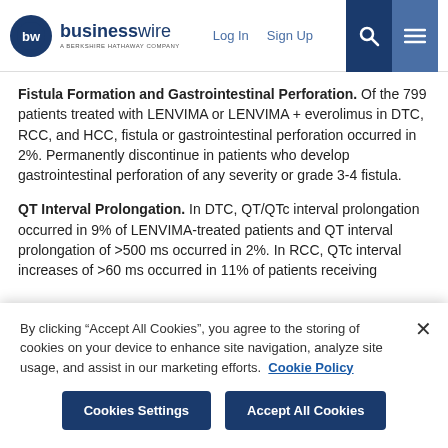businesswire — A BERKSHIRE HATHAWAY COMPANY | Log In | Sign Up
Fistula Formation and Gastrointestinal Perforation. Of the 799 patients treated with LENVIMA or LENVIMA + everolimus in DTC, RCC, and HCC, fistula or gastrointestinal perforation occurred in 2%. Permanently discontinue in patients who develop gastrointestinal perforation of any severity or grade 3-4 fistula.
QT Interval Prolongation. In DTC, QT/QTc interval prolongation occurred in 9% of LENVIMA-treated patients and QT interval prolongation of >500 ms occurred in 2%. In RCC, QTc interval increases of >60 ms occurred in 11% of patients receiving
By clicking “Accept All Cookies”, you agree to the storing of cookies on your device to enhance site navigation, analyze site usage, and assist in our marketing efforts. Cookie Policy
Cookies Settings | Accept All Cookies